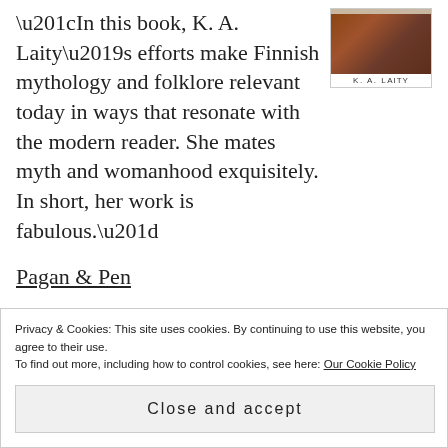“In this book, K. A. Laity’s efforts make Finnish mythology and folklore relevant today in ways that resonate with the modern reader. She mates myth and womanhood exquisitely. In short, her work is fabulous.”
[Figure (illustration): Book cover image with author name K. A. LAITY at the bottom]
Pagan & Pen
“…you will want to savor every word, every page and read this book over and over. The warmth and
Privacy & Cookies: This site uses cookies. By continuing to use this website, you agree to their use.
To find out more, including how to control cookies, see here: Our Cookie Policy
Close and accept